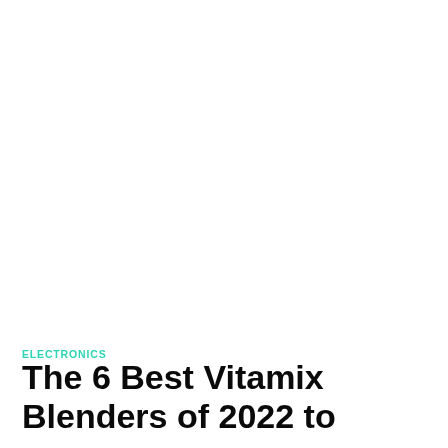ELECTRONICS
The 6 Best Vitamix Blenders of 2022 to